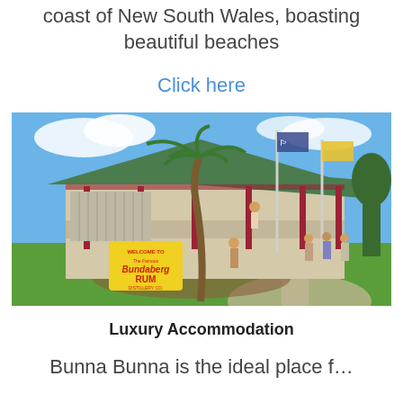coast of New South Wales, boasting beautiful beaches
Click here
[Figure (photo): Exterior of the Bundaberg Rum distillery building — a heritage Queensland-style house with a green tin roof, red verandah posts, and a large yellow 'Welcome to Bundaberg RUM' sign in the foreground. Palm trees, two flagpoles with flags, visitors on the lawn, and a manicured garden path under a bright blue sky.]
Luxury Accommodation
Bunna Bunna is the ideal place f…